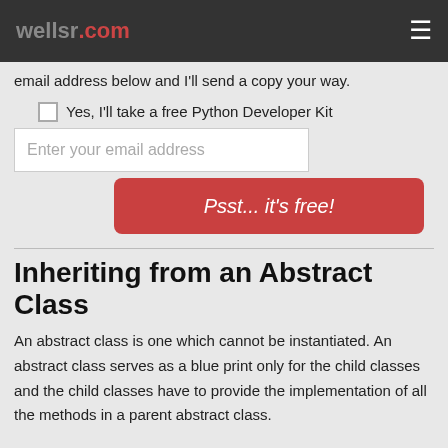wellsr.com
email address below and I'll send a copy your way.
Yes, I'll take a free Python Developer Kit
Enter your email address
Psst... it's free!
Inheriting from an Abstract Class
An abstract class is one which cannot be instantiated. An abstract class serves as a blue print only for the child classes and the child classes have to provide the implementation of all the methods in a parent abstract class.